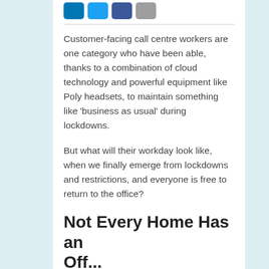[Figure (other): Row of four social sharing icon buttons: LinkedIn (blue), Twitter (light blue), Facebook (dark blue), Email/share (grey)]
Customer-facing call centre workers are one category who have been able, thanks to a combination of cloud technology and powerful equipment like Poly headsets, to maintain something like ‘business as usual’ during lockdowns.
But what will their workday look like, when we finally emerge from lockdowns and restrictions, and everyone is free to return to the office?
Not Every Home Has an